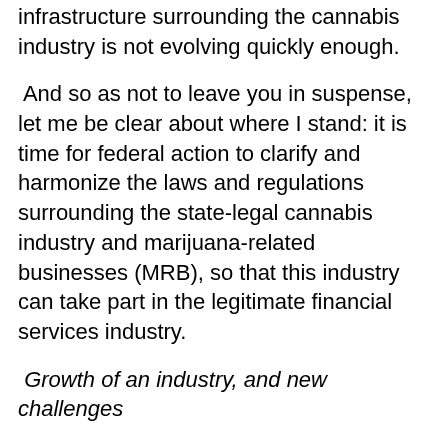infrastructure surrounding the cannabis industry is not evolving quickly enough.
And so as not to leave you in suspense, let me be clear about where I stand: it is time for federal action to clarify and harmonize the laws and regulations surrounding the state-legal cannabis industry and marijuana-related businesses (MRB), so that this industry can take part in the legitimate financial services industry.
Growth of an industry, and new challenges
For our purposes here today, I don't need to recount all of the statistics about the number of states that have legalized cannabis in one form or another, or the explosive growth of the state-legal cannabis industry over the last decade. If you weren't already familiar with those facts and statistics, you wouldn't be here. It's simply a